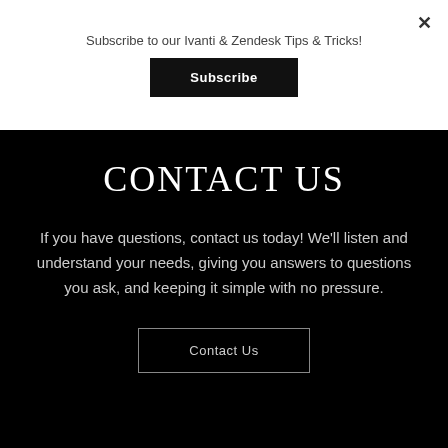Subscribe to our Ivanti & Zendesk Tips & Tricks!
Subscribe
×
CONTACT US
If you have questions, contact us today!  We'll listen and understand your needs, giving you answers to questions you ask, and keeping it simple with no pressure.
Contact Us